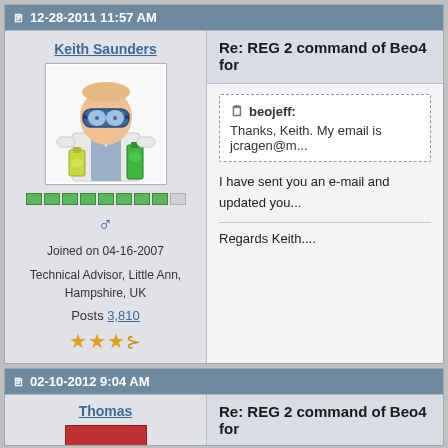12-28-2011 11:57 AM
Keith Saunders
[Figure (illustration): Cartoon avatar of a scientist wearing lab goggles and white coat, holding laboratory flasks]
Joined on 04-16-2007
Technical Advisor, Little Ann, Hampshire, UK
Posts 3,810
Re: REG 2 command of Beo4 for
beojeff: Thanks, Keith. My email is jcragen@m...
I have sent you an e-mail and updated you...
Regards Keith....
02-10-2012 9:04 AM
Thomas
Re: REG 2 command of Beo4 for